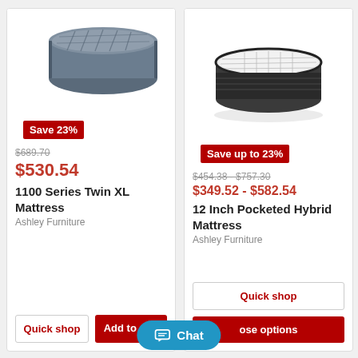[Figure (photo): Photo of a gray quilted mattress (1100 Series Twin XL), viewed from a 3/4 angle]
Save 23%
$689.70
$530.54
1100 Series Twin XL Mattress
Ashley Furniture
Quick shop
Add to cart
[Figure (photo): Photo of a white pillow-top hybrid mattress with black border (12 Inch Pocketed Hybrid), viewed from a 3/4 angle]
Save up to 23%
$454.38 - $757.30
$349.52 - $582.54
12 Inch Pocketed Hybrid Mattress
Ashley Furniture
Quick shop
ose options